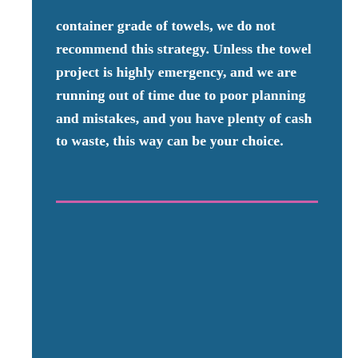container grade of towels, we do not recommend this strategy. Unless the towel project is highly emergency, and we are running out of time due to poor planning and mistakes, and you have plenty of cash to waste, this way can be your choice.
[Figure (logo): Circular logo with Chinese character and decorative border on white background]